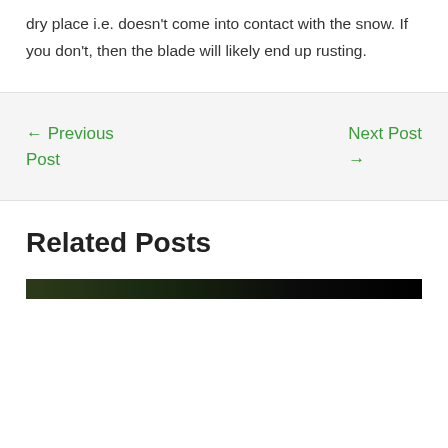dry place i.e. doesn't come into contact with the snow. If you don't, then the blade will likely end up rusting.
← Previous Post
Next Post →
Related Posts
[Figure (photo): Dark outdoor/nature image thumbnail, bottom portion cut off]